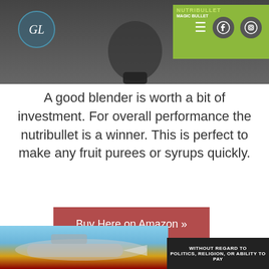[Figure (screenshot): Website header with GL logo, blender image, navigation icons (hamburger menu, Facebook, Instagram), and NutriBullet banner in top right]
A good blender is worth a bit of investment. For overall performance the nutribullet is a winner. This is perfect to make any fruit purees or syrups quickly.
[Figure (other): Red button labeled 'Buy Here on Amazon >>']
[Figure (photo): Advertisement banner showing airplane being loaded with cargo, Southwest Airlines colors, with dark box reading 'WITHOUT REGARD TO POLITICS, RELIGION, OR ABILITY TO PAY']